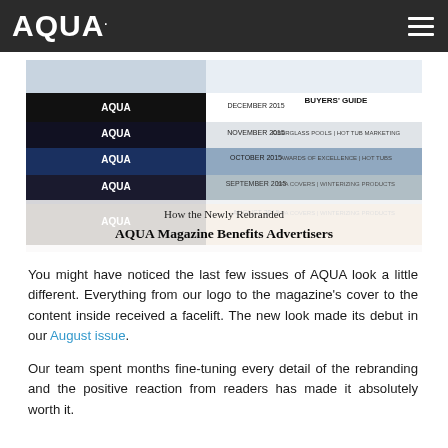AQUA
[Figure (photo): Stack of AQUA magazine issues (August through December 2015) with text overlay: 'How the Newly Rebranded AQUA Magazine Benefits Advertisers']
You might have noticed the last few issues of AQUA look a little different. Everything from our logo to the magazine's cover to the content inside received a facelift. The new look made its debut in our August issue.
Our team spent months fine-tuning every detail of the rebranding and the positive reaction from readers has made it absolutely worth it.